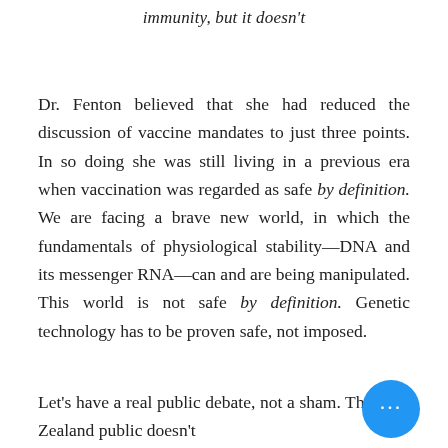immunity, but it doesn't
Dr. Fenton believed that she had reduced the discussion of vaccine mandates to just three points. In so doing she was still living in a previous era when vaccination was regarded as safe by definition. We are facing a brave new world, in which the fundamentals of physiological stability—DNA and its messenger RNA—can and are being manipulated. This world is not safe by definition. Genetic technology has to be proven safe, not imposed.
Let's have a real public debate, not a sham. The New Zealand public doesn't